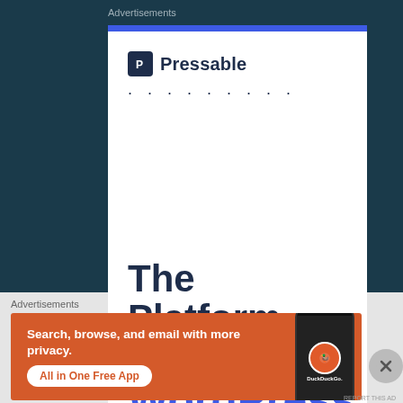Advertisements
[Figure (screenshot): Pressable advertisement card with blue top bar, Pressable logo with shield P icon, dots decoration, and large bold text reading 'The Platform Where WordPress']
Advertisements
[Figure (screenshot): DuckDuckGo advertisement banner on orange background. Text: 'Search, browse, and email with more privacy.' Button: 'All in One Free App'. Right side shows phone mockup with DuckDuckGo logo.]